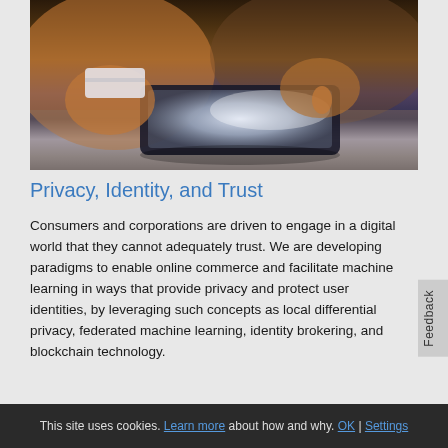[Figure (photo): Person holding a credit card in one hand and touching a tablet screen with the other hand, warm ambient lighting]
Privacy, Identity, and Trust
Consumers and corporations are driven to engage in a digital world that they cannot adequately trust. We are developing paradigms to enable online commerce and facilitate machine learning in ways that provide privacy and protect user identities, by leveraging such concepts as local differential privacy, federated machine learning, identity brokering, and blockchain technology.
This site uses cookies. Learn more about how and why. OK | Settings